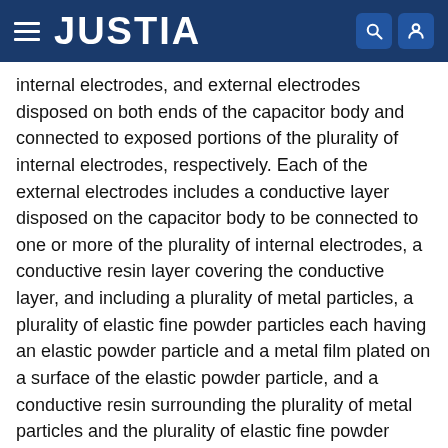JUSTIA
internal electrodes, and external electrodes disposed on both ends of the capacitor body and connected to exposed portions of the plurality of internal electrodes, respectively. Each of the external electrodes includes a conductive layer disposed on the capacitor body to be connected to one or more of the plurality of internal electrodes, a conductive resin layer covering the conductive layer, and including a plurality of metal particles, a plurality of elastic fine powder particles each having an elastic powder particle and a metal film plated on a surface of the elastic powder particle, and a conductive resin surrounding the plurality of metal particles and the plurality of elastic fine powder particles and contacting the conductive layer, and a plating layer covering the conductive resin layer.
Type: Grant
Filed: May 15, 2020